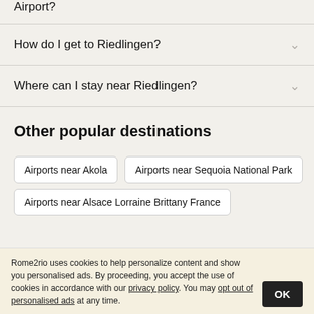Airport?
How do I get to Riedlingen?
Where can I stay near Riedlingen?
Other popular destinations
Airports near Akola
Airports near Sequoia National Park
Airports near Alsace Lorraine Brittany France
Rome2rio uses cookies to help personalize content and show you personalised ads. By proceeding, you accept the use of cookies in accordance with our privacy policy. You may opt out of personalised ads at any time.